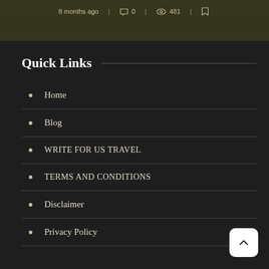[Figure (photo): Dark outdoor photo strip showing a path/trail scene with overlaid metadata: '8 months ago', comment icon '0', eye icon '481', and bookmark icon]
Quick Links
Home
Blog
WRITE FOR US TRAVEL
TERMS AND CONDITIONS
Disclaimer
Privacy Policy